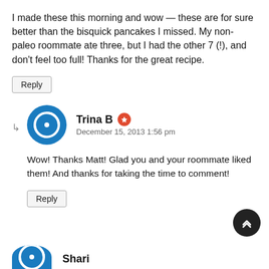I made these this morning and wow — these are for sure better than the bisquick pancakes I missed. My non-paleo roommate ate three, but I had the other 7 (!), and don't feel too full! Thanks for the great recipe.
Reply
Trina B
December 15, 2013 1:56 pm
Wow! Thanks Matt! Glad you and your roommate liked them! And thanks for taking the time to comment!
Reply
Shari